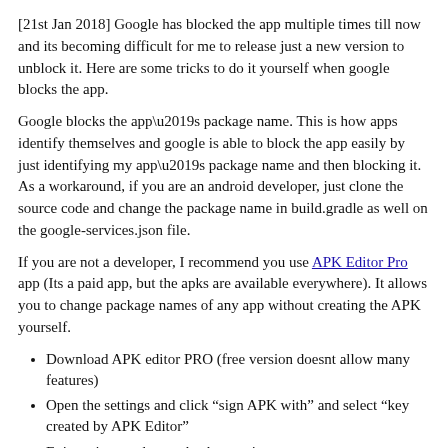[21st Jan 2018] Google has blocked the app multiple times till now and its becoming difficult for me to release just a new version to unblock it. Here are some tricks to do it yourself when google blocks the app.
Google blocks the app’s package name. This is how apps identify themselves and google is able to block the app easily by just identifying my app’s package name and then blocking it. As a workaround, if you are an android developer, just clone the source code and change the package name in build.gradle as well on the google-services.json file.
If you are not a developer, I recommend you use APK Editor Pro app (Its a paid app, but the apks are available everywhere). It allows you to change package names of any app without creating the APK yourself.
Download APK editor PRO (free version doesnt allow many features)
Open the settings and click “sign APK with” and select “key created by APK Editor”
Exit settings and come back to main menu
click “Select APK from app”
select the car stream apk
select “Full Edit”